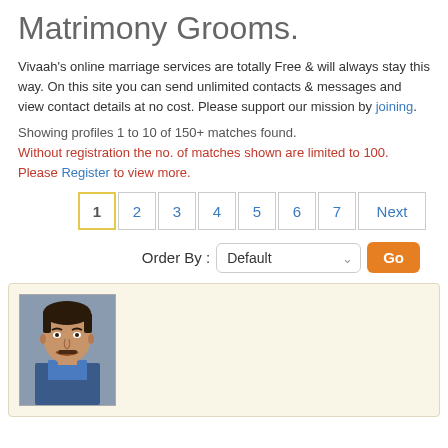Matrimony Grooms.
Vivaah's online marriage services are totally Free & will always stay this way. On this site you can send unlimited contacts & messages and view contact details at no cost. Please support our mission by joining.
Showing profiles 1 to 10 of 150+ matches found.
Without registration the no. of matches shown are limited to 100. Please Register to view more.
[Figure (screenshot): Pagination bar with page buttons 1 (active), 2, 3, 4, 5, 6, 7, and Next]
Order By : Default  Go
[Figure (photo): Profile card with a photo of a young man]